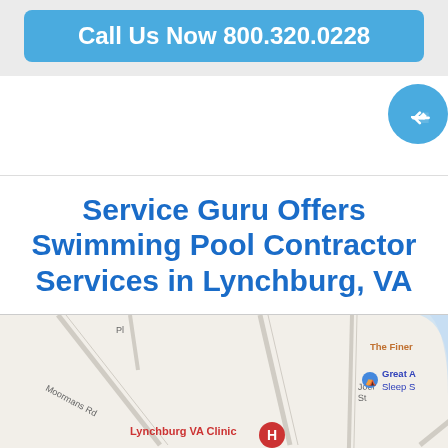Call Us Now 800.320.0228
[Figure (screenshot): Partially visible hand/pointer icon button (blue circle) on the right side]
Service Guru Offers Swimming Pool Contractor Services in Lynchburg, VA
[Figure (map): Google Maps screenshot showing Lynchburg VA Clinic area with Moormans Rd, Joel St, route 221, and nearby businesses including The Finer (partially visible), Great A, Sleep S (partially visible). A red hospital pin marks Lynchburg VA Clinic.]